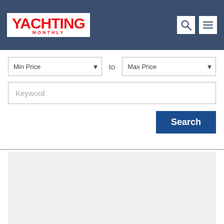YACHTING MONTHLY
[Figure (screenshot): Search form with Min Price and Max Price dropdowns, Keyword text input, and Search button]
[Figure (other): Gray placeholder content area below divider]